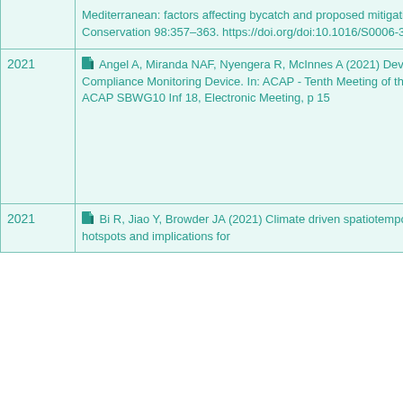| Year | Reference | Type | Species |
| --- | --- | --- | --- |
|  | Mediterranean: factors affecting bycatch and proposed mitigating measures. Biological Conservation 98:357–363. https://doi.org/doi:10.1016/S0006-3207(00)00178-6 |  |  |
| 2021 | Angel A, Miranda NAF, Nyengera R, McInnes A (2021) Development of a Bird-scaring Line Compliance Monitoring Device. In: ACAP - Tenth Meeting of the Seabird Bycatch Working Group. ACAP SBWG10 Inf 18, Electronic Meeting, p 15 | LL | Seabi |
| 2021 | Bi R, Jiao Y, Browder JA (2021) Climate driven spatiotemporal variations in seabird bycatch hotspots and implications for | LL | Seabi |